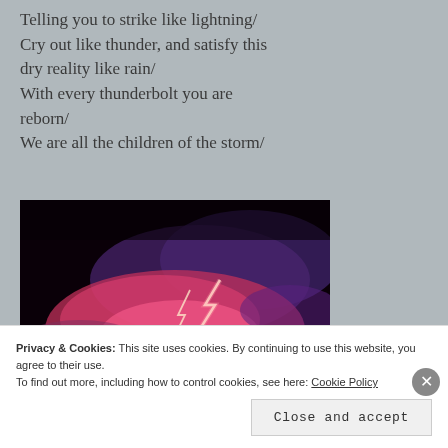Telling you to strike like lightning/
Cry out like thunder, and satisfy this dry reality like rain/
With every thunderbolt you are reborn/
We are all the children of the storm/
[Figure (photo): A dramatic photograph of lightning striking through dark storm clouds lit with pink/magenta light against a black night sky]
Privacy & Cookies: This site uses cookies. By continuing to use this website, you agree to their use.
To find out more, including how to control cookies, see here: Cookie Policy
Close and accept